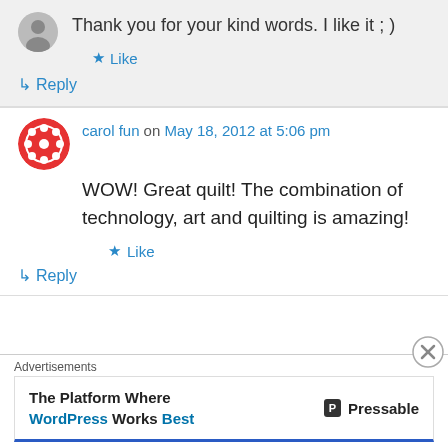Thank you for your kind words. I like it ; )
Like
Reply
carol fun on May 18, 2012 at 5:06 pm
WOW! Great quilt! The combination of technology, art and quilting is amazing!
Like
Reply
Advertisements
The Platform Where WordPress Works Best